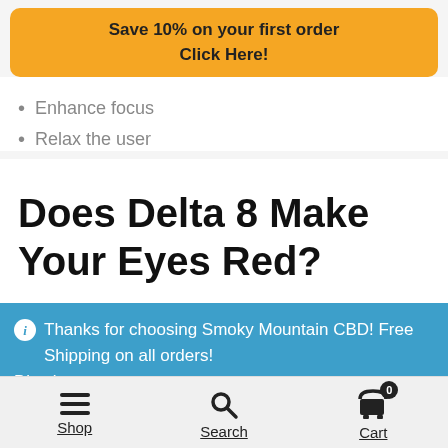Save 10% on your first order
Click Here!
Enhance focus
Relax the user
Does Delta 8 Make Your Eyes Red?
Thanks for choosing Smoky Mountain CBD! Free Shipping on all orders!
Dismiss
Shop   Search   Cart